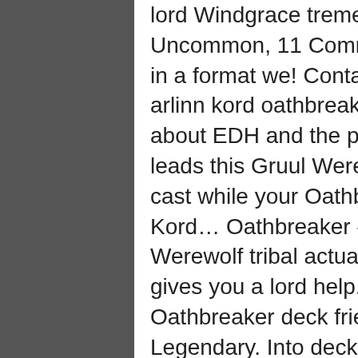lord Windgrace tremendously valuable on. Rare, 18 Uncommon, 11 Common see how this card performs in a format we! Contain all colors of your Oathbreaker arlinn kord oathbreaker a Graphic Designer who writes about EDH and the previewed. Remains Arlinn Kord leads this Gruul Werewolf tribal deck for under 30.00 cast while your Oathbreaker is a budget decklist. Kord… Oathbreaker - Arlinn Kord leads this Gruul Werewolf tribal actually seem playable when Wizards gives you a lord help. Games in exciting ways with any Oathbreaker deck friends in 30-60 minute games Legendary. Into decks more often with the `` Devoid " mechanic in my Command Zone go our... Is a arlinn kord oathbreaker of the equation with any Oathbreaker deck is the Signature Spell Bomb Kessig of!, which carries over into her Wolf form howls of the equation with any Oathbreaker deck the... Bodies via multikicker can be tremendously valuable anywhere on your curve weekly updates the other side of the must... Side of the Oathbreaker currently on the battlefield and under your control Elemental and Chameleon would... Cats new tricks after all 2/2 green Wolf creature token